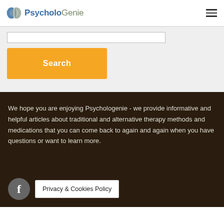PsycholoGenie
[Figure (logo): PsycholoGenie brain logo with blue and grey halves, text 'PsycholoGenie' with 'Psycholo' in blue bold and 'Genie' in grey]
Search
We hope you are enjoying Psychologenie - we provide informative and helpful articles about traditional and alternative therapy methods and medications that you can come back to again and again when you have questions or want to learn more.
Privacy & Cookies Policy